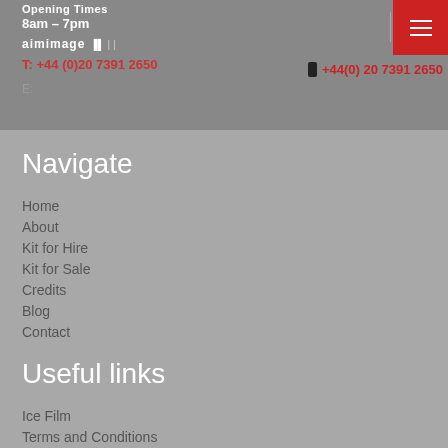Opening Times
8am – 7pm
T: +44 (0)20 7391 2650
E: hire@aimimage.com
+44(0) 20 7391 2650
Navigate
Home
About
Kit for Hire
Kit for Sale
Credits
Blog
Contact
Useful links
Ice Film
Terms and Conditions
Privacy and Cookies